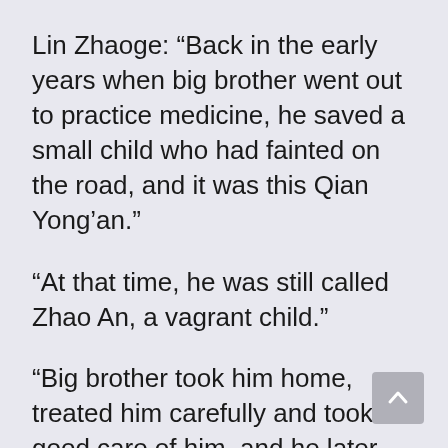Lin Zhaoge: “Back in the early years when big brother went out to practice medicine, he saved a small child who had fainted on the road, and it was this Qian Yong’an.”
“At that time, he was still called Zhao An, a vagrant child.”
“Big brother took him home, treated him carefully and took good care of him, and he later recovered.”
[Figure (other): Scroll-to-top button, a rounded square with an upward-pointing caret arrow]